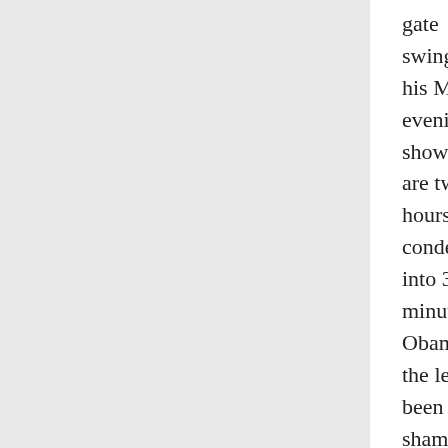gate swinging on his Monday evening show. Here are two hours from condensed into 38 minutes. Obama and the left have been shameful; Bush, Cheney, Rumsfeld, etc. have been vindicated. And neither Mark, nor I, is going to